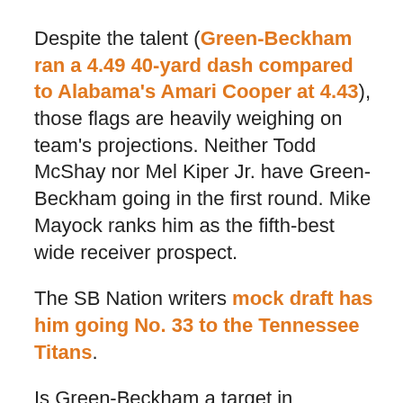Despite the talent (Green-Beckham ran a 4.49 40-yard dash compared to Alabama's Amari Cooper at 4.43), those flags are heavily weighing on team's projections. Neither Todd McShay nor Mel Kiper Jr. have Green-Beckham going in the first round. Mike Mayock ranks him as the fifth-best wide receiver prospect.
The SB Nation writers mock draft has him going No. 33 to the Tennessee Titans.
Is Green-Beckham a target in Cincinnati? We wrote two months ago about the team's previous comments on character. Here it is again... (yes, we're holding them to that standard): Regardless of your opinion, Mike Brown's view on this subject has evolved. At one